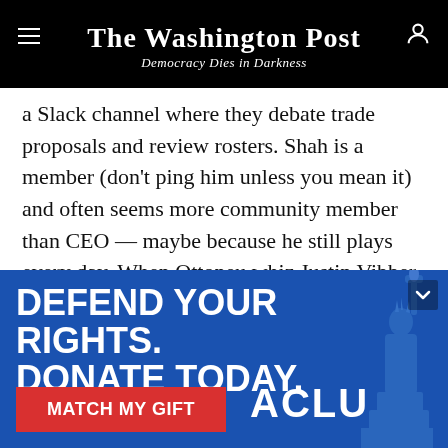The Washington Post — Democracy Dies in Darkness
a Slack channel where they debate trade proposals and review rosters. Shah is a member (don't ping him unless you mean it) and often seems more community member than CEO — maybe because he still plays every day. When Ottoneu whiz Justin Vibber started offering Excel-coded spreadsheet tools for fellow managers, Shah helped him out by tweaking site code to make the tools work better. The community comes together offline, too: Washingtonian Dustin Beruta, an
[Figure (illustration): ACLU advertisement banner with blue background. Text reads 'DEFEND YOUR RIGHTS. DONATE TODAY.' with a red 'MATCH MY GIFT' button, ACLU logo, and Statue of Liberty graphic on the right.]